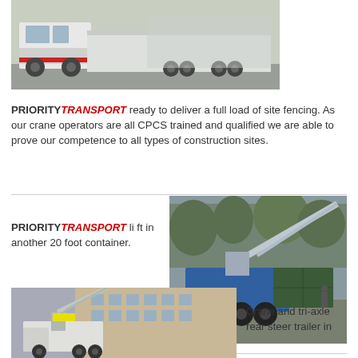[Figure (photo): A large white transport truck with red and white markings parked in a yard, showing full vehicle length from front cab to rear trailer.]
PRIORITYTRANSPORT ready to deliver a full load of site fencing. As our crane operators are all CPCS trained and qualified we are able to prove our competence to all types of construction sites.
[Figure (photo): A crane mounted on a transport truck lifting a 20 foot container at a construction site, with trees and green fencing in the background.]
PRIORITYTRANSPORT lift in another 20 foot container.
[Figure (photo): A crane truck with HIAB crane extended operating near a brick apartment building, lifting equipment at a residential construction site.]
Crane and tri-axle rear steer trailer in